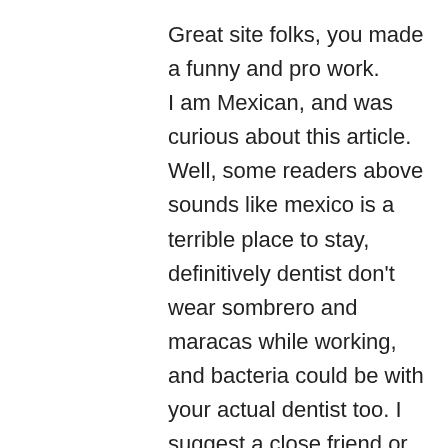Great site folks, you made a funny and pro work.
I am Mexican, and was curious about this article.
Well, some readers above sounds like mexico is a terrible place to stay, definitively dentist don't wear sombrero and maracas while working, and bacteria could be with your actual dentist too. I suggest a close friend or relative recommendation for a good dentists in mexico, there are good and bad, cheap and expensive dentist as everywhere.
I can't belibve how much you spend in dental care, that prices are incredible. With 5 grand I can pimp my entire teet like new.